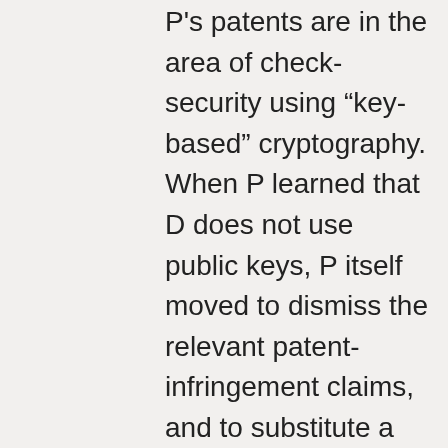P's patents are in the area of check-security using “key-based” cryptography. When P learned that D does not use public keys, P itself moved to dismiss the relevant patent-infringement claims, and to substitute a false-advertising claim. While the false-advertising amendment was not allowed here because of timing, the case suggests that, when P grounds its patent-infringement complaint in part on D’s marketing materials, and then learns during source-code discovery that the public representation was incorrect, P may consider pursuingÂ the false representation. This may also apply to cases where P relies on D’s